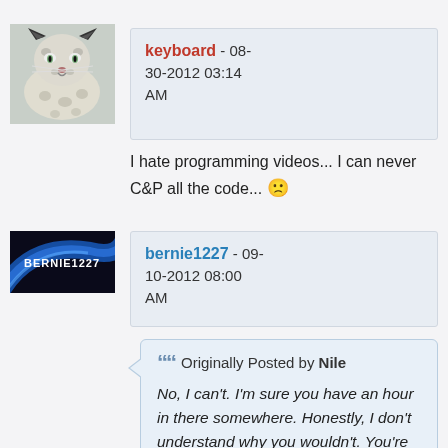[Figure (photo): Snow leopard avatar image]
keyboard - 08-30-2012 03:14 AM
I hate programming videos... I can never C&P all the code... 😕
[Figure (screenshot): BERNIE1227 avatar with blue swoosh design]
bernie1227 - 09-10-2012 08:00 AM
Originally Posted by Nile
No, I can't. I'm sure you have an hour in there somewhere. Honestly, I don't understand why you wouldn't. You're giving up 1 hour to make yourself a better programmer for a lifetime. I suggest